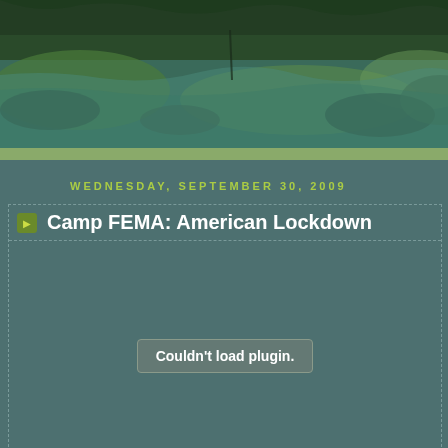[Figure (photo): Nature/stream photo header banner showing green mossy rocks and flowing water in a forested stream setting]
WEDNESDAY, SEPTEMBER 30, 2009
Camp FEMA: American Lockdown
Couldn't load plugin.